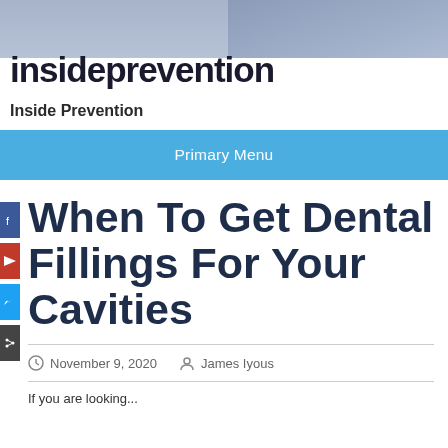insideprevention
Inside Prevention
Primary Menu
When To Get Dental Fillings For Your Cavities
November 9, 2020   James Iyous
If you are looking...